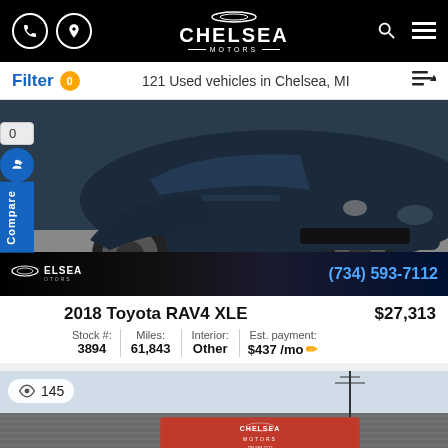Chelsea Motors — header navigation bar
Filter 0   121 Used vehicles in Chelsea, MI
[Figure (photo): 2018 Toyota RAV4 XLE SUV in dark blue/black color, front three-quarter view in a parking lot. Chelsea Motors logo and phone number (734) 593-7112 overlaid at bottom.]
2018 Toyota RAV4 XLE   $27,313
Stock #: 3894   Miles: 61,843   Interior: Other   Est. payment: $437 /mo
[Figure (photo): Partial view of Chelsea Motors building exterior with signage on roof, 145 views indicator shown.]